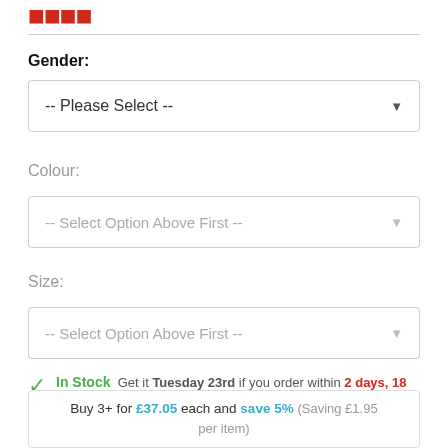[Figure (logo): Red logo text partially visible at top of page]
Gender:
[Figure (screenshot): Dropdown select box with '-- Please Select --' option]
Colour:
[Figure (screenshot): Disabled dropdown select box with '-- Select Option Above First --']
Size:
[Figure (screenshot): Disabled dropdown select box with '-- Select Option Above First --']
In Stock  Get it Tuesday 23rd if you order within 2 days, 18 hours, 30 minutes and 43 seconds * by upgrading to our next day delivery option
Buy 3+ for £37.05 each and save 5% (Saving £1.95 per item)